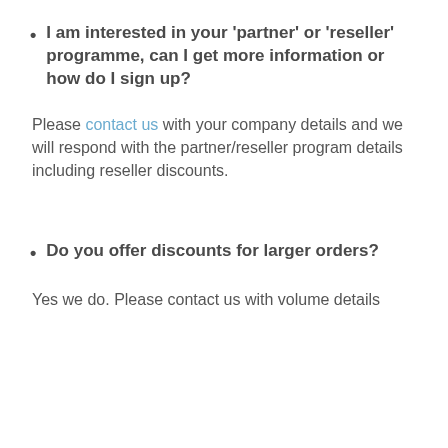I am interested in your ‘partner’ or ‘reseller’ programme, can I get more information or how do I sign up?
Please contact us with your company details and we will respond with the partner/reseller program details including reseller discounts.
Do you offer discounts for larger orders?
Yes we do. Please contact us with volume details